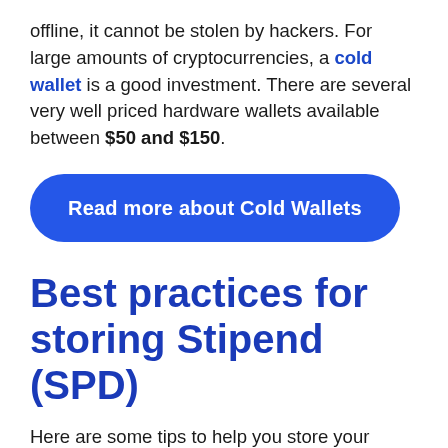offline, it cannot be stolen by hackers. For large amounts of cryptocurrencies, a cold wallet is a good investment. There are several very well priced hardware wallets available between $50 and $150.
[Figure (other): Blue rounded button with white text reading 'Read more about Cold Wallets']
Best practices for storing Stipend (SPD)
Here are some tips to help you store your cryptocurrencies safely: